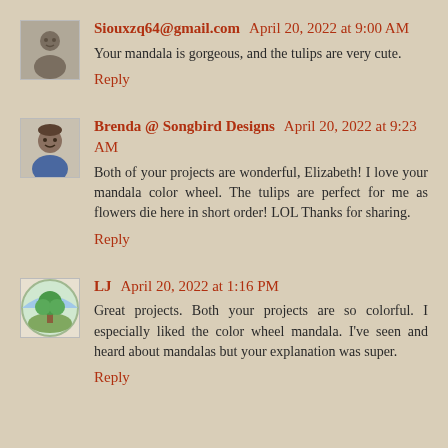Siouxzq64@gmail.com April 20, 2022 at 9:00 AM
Your mandala is gorgeous, and the tulips are very cute.
Reply
Brenda @ Songbird Designs April 20, 2022 at 9:23 AM
Both of your projects are wonderful, Elizabeth! I love your mandala color wheel. The tulips are perfect for me as flowers die here in short order! LOL Thanks for sharing.
Reply
LJ April 20, 2022 at 1:16 PM
Great projects. Both your projects are so colorful. I especially liked the color wheel mandala. I've seen and heard about mandalas but your explanation was super.
Reply